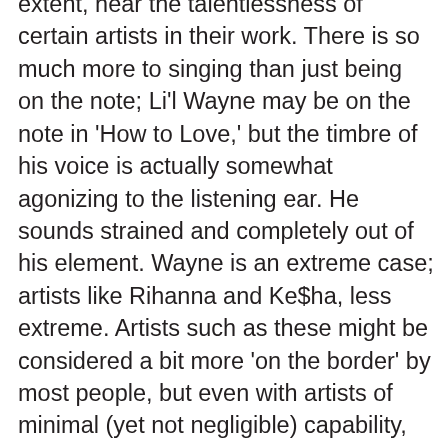extent, hear the talentlessness of certain artists in their work. There is so much more to singing than just being on the note; Li'l Wayne may be on the note in 'How to Love,' but the timbre of his voice is actually somewhat agonizing to the listening ear. He sounds strained and completely out of his element. Wayne is an extreme case; artists like Rihanna and Ke$ha, less extreme. Artists such as these might be considered a bit more 'on the border' by most people, but even with artists of minimal (yet not negligible) capability, the issue is more of one sounding better in the studio than one does live. Or at least, to remain more value-neutral, one being incapable of reproducing the studio performance.